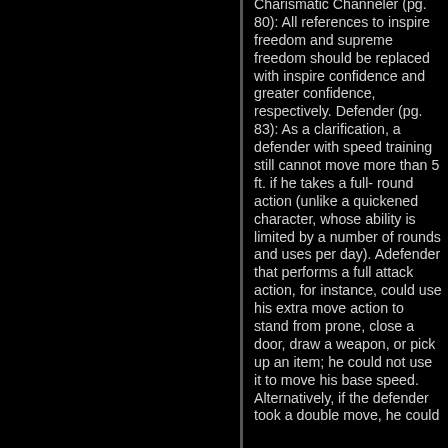Charismatic Channeler (pg. 80): All references to inspire freedom and supreme freedom should be replaced with inspire confidence and greater confidence, respectively. Defender (pg. 83): As a clarification, a defender with speed training still cannot move more than 5 ft. if he takes a full- round action (unlike a quickened character, whose ability is limited by a number of rounds and uses per day). A defender that performs a full attack action, for instance, could use his extra move action to stand from prone, close a door, draw a weapon, or pick up an item; he could not use it to move his base speed. Alternatively, if the defender took a double move, he could